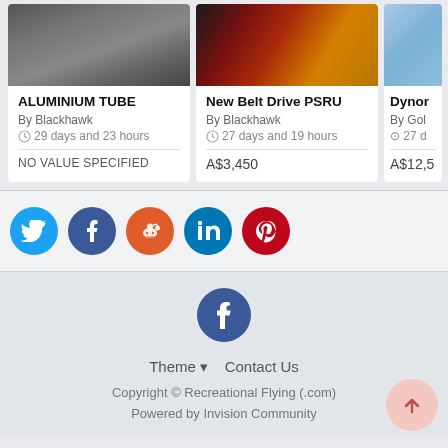[Figure (screenshot): Product card: ALUMINIUM TUBE by Blackhawk, 29 days and 23 hours, NO VALUE SPECIFIED]
[Figure (screenshot): Product card: New Belt Drive PSRU by Blackhawk, 27 days and 19 hours, A$3,450]
[Figure (screenshot): Product card: Dynor... by Gol..., 27 d..., A$12,5...]
[Figure (infographic): Social share buttons: Twitter, Facebook, Reddit, LinkedIn, Pinterest]
[Figure (logo): Facebook logo circle icon in footer]
Theme ▾   Contact Us
Copyright © Recreational Flying (.com)
Powered by Invision Community